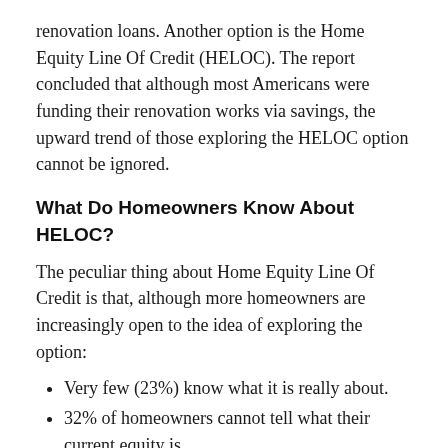renovation loans. Another option is the Home Equity Line Of Credit (HELOC). The report concluded that although most Americans were funding their renovation works via savings, the upward trend of those exploring the HELOC option cannot be ignored.
What Do Homeowners Know About HELOC?
The peculiar thing about Home Equity Line Of Credit is that, although more homeowners are increasingly open to the idea of exploring the option:
Very few (23%) know what it is really about.
32% of homeowners cannot tell what their current equity is.
Only one in six homeowners could